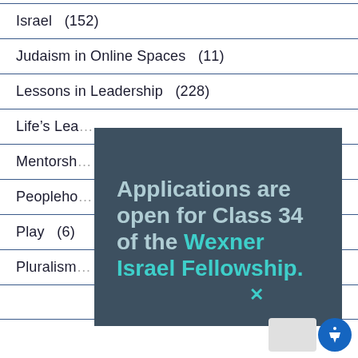Israel   (152)
Judaism in Online Spaces   (11)
Lessons in Leadership   (228)
Life's Lea…
Mentorsh…
Peopleho…
Play   (6)
Pluralism…
[Figure (infographic): Modal popup overlay on dark teal-gray background with bold text: 'Applications are open for Class 34 of the Wexner Israel Fellowship.' with 'Wexner Israel Fellowship.' in teal/cyan color. A teal X close button appears at the top right of the popup.]